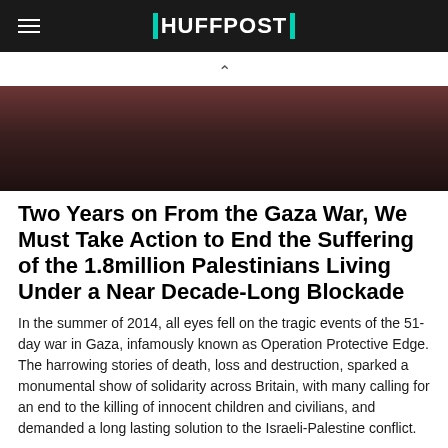HUFFPOST
[Figure (photo): Dark, moody photograph used as article header image]
Two Years on From the Gaza War, We Must Take Action to End the Suffering of the 1.8million Palestinians Living Under a Near Decade-Long Blockade
In the summer of 2014, all eyes fell on the tragic events of the 51-day war in Gaza, infamously known as Operation Protective Edge. The harrowing stories of death, loss and destruction, sparked a monumental show of solidarity across Britain, with many calling for an end to the killing of innocent children and civilians, and demanded a long lasting solution to the Israeli-Palestine conflict.
By SARAH CHAMPION